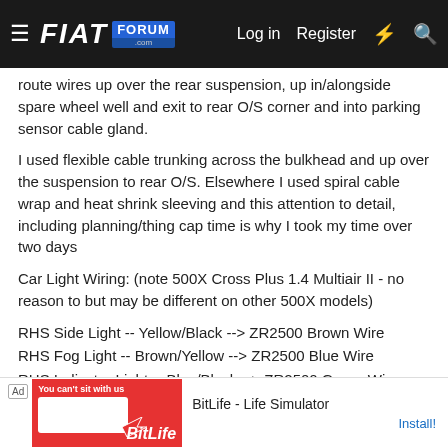FIAT FORUM - Log in | Register
route wires up over the rear suspension, up in/alongside spare wheel well and exit to rear O/S corner and into parking sensor cable gland.
I used flexible cable trunking across the bulkhead and up over the suspension to rear O/S. Elsewhere I used spiral cable wrap and heat shrink sleeving and this attention to detail, including planning/thing cap time is why I took my time over two days
Car Light Wiring: (note 500X Cross Plus 1.4 Multiair II - no reason to but may be different on other 500X models)
RHS Side Light -- Yellow/Black --> ZR2500 Brown Wire
RHS Fog Light -- Brown/Yellow --> ZR2500 Blue Wire
RHS Indicator Light -- Blue/Black --> ZR2500 Green Wire
RHS Brake Lignt -- Green/Yellow --> ZR2500 Red Wire
RHS Earth Light -- Black --> ZR2500
LHS Side...
LHS Fog...
[Figure (screenshot): Advertisement banner: BitLife - Life Simulator app ad with Install button]